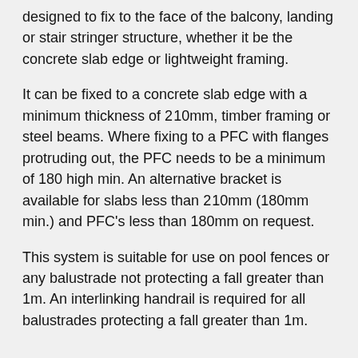designed to fix to the face of the balcony, landing or stair stringer structure, whether it be the concrete slab edge or lightweight framing.
It can be fixed to a concrete slab edge with a minimum thickness of 210mm, timber framing or steel beams. Where fixing to a PFC with flanges protruding out, the PFC needs to be a minimum of 180 high min. An alternative bracket is available for slabs less than 210mm (180mm min.) and PFC's less than 180mm on request.
This system is suitable for use on pool fences or any balustrade not protecting a fall greater than 1m. An interlinking handrail is required for all balustrades protecting a fall greater than 1m.